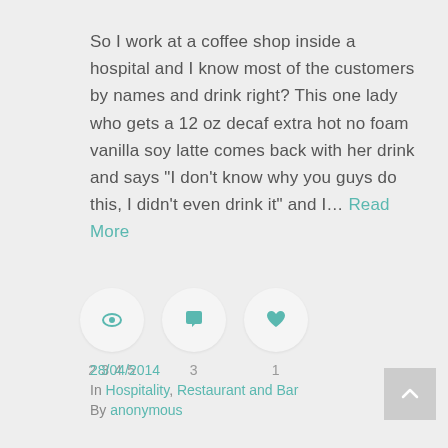So I work at a coffee shop inside a hospital and I know most of the customers by names and drink right? This one lady who gets a 12 oz decaf extra hot no foam vanilla soy latte comes back with her drink and says "I don't know why you guys do this, I didn't even drink it" and I… Read More
[Figure (infographic): Three circular icon buttons in a row: an eye icon (views), a speech bubble icon (comments), and a heart icon (likes), each inside a light gray circle.]
2345   3   1
28/04/2014
In Hospitality,  Restaurant and Bar
By anonymous